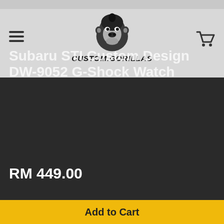[Figure (logo): Custom Gorillas logo — stylized gorilla face in black and white with the text CUSTOM.GORILLAS below in bold italic uppercase letters]
Subaru STI Custom Design DW-9052 G-Shock Watch
RM 449.00
Quantity
1
Add to Cart
Add to Cart